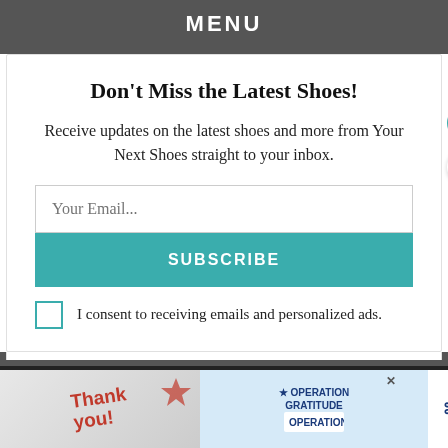MENU
Don't Miss the Latest Shoes!
Receive updates on the latest shoes and more from Your Next Shoes straight to your inbox.
Your Email...
SUBSCRIBE
I consent to receiving emails and personalized ads.
The ... animal an... black